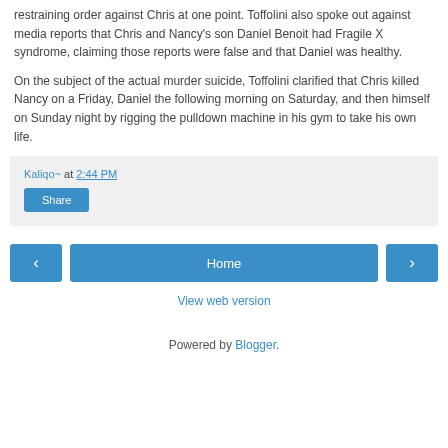restraining order against Chris at one point. Toffolini also spoke out against media reports that Chris and Nancy's son Daniel Benoit had Fragile X syndrome, claiming those reports were false and that Daniel was healthy.
On the subject of the actual murder suicide, Toffolini clarified that Chris killed Nancy on a Friday, Daniel the following morning on Saturday, and then himself on Sunday night by rigging the pulldown machine in his gym to take his own life.
Kaliqo~ at 2:44 PM
Share
< Home >
View web version
Powered by Blogger.